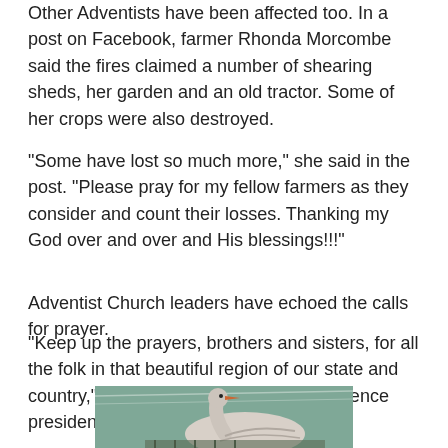Other Adventists have been affected too. In a post on Facebook, farmer Rhonda Morcombe said the fires claimed a number of shearing sheds, her garden and an old tractor. Some of her crops were also destroyed.
“Some have lost so much more,” she said in the post. “Please pray for my fellow farmers as they consider and count their losses. Thanking my God over and over and His blessings!!!”
Adventist Church leaders have echoed the calls for prayer.
“Keep up the prayers, brothers and sisters, for all the folk in that beautiful region of our state and country,” said Western Australian Conference president Pastor Terry Johnson.
[Figure (photo): A goose or duck with a light grey/white body and orange beak, photographed in front of a teal/green wall with netting, at a farm or enclosure setting.]